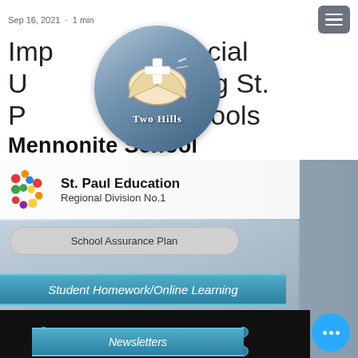Sep 16, 2021 · 1 min
Important Provincial Update Regarding St. Paul Region Schools
[Figure (logo): Two Hills Mennonite School circular logo with open Bible and cross]
[Figure (screenshot): Screenshot of St. Paul Education Regional Division No.1 website showing School Assurance Plan button, Student Homework/Online Learning button, Newsletters button, and a blurred background image]